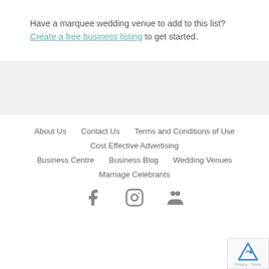Have a marquee wedding venue to add to this list? Create a free business listing to get started.
About Us   Contact Us   Terms and Conditions of Use
Cost Effective Advertising
Business Centre   Business Blog   Wedding Venues
Marriage Celebrants
[Figure (illustration): Social media icons: Facebook, Instagram, and a group/community icon]